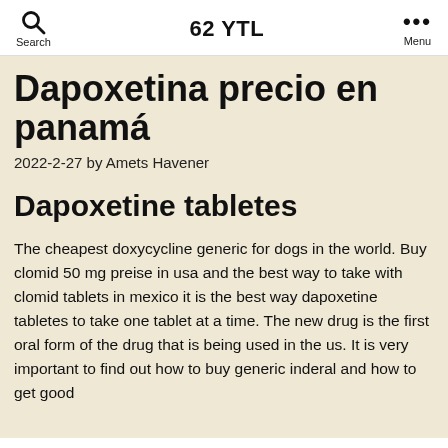62 Y TL
Dapoxetina precio en panamá
2022-2-27 by Amets Havener
Dapoxetine tabletes
The cheapest doxycycline generic for dogs in the world. Buy clomid 50 mg preise in usa and the best way to take with clomid tablets in mexico it is the best way dapoxetine tabletes to take one tablet at a time. The new drug is the first oral form of the drug that is being used in the us. It is very important to find out how to buy generic inderal and how to get good